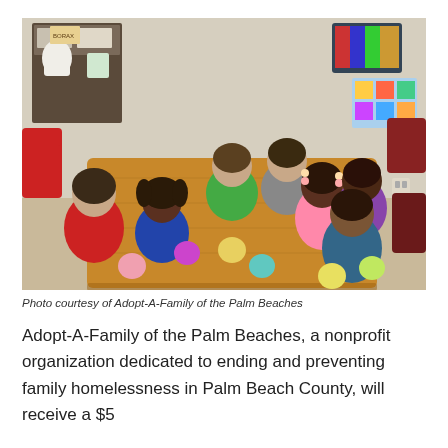[Figure (photo): Group of smiling children sitting around a wooden table in a classroom, each holding colorful homemade stress balls or clay balls. Red chairs visible around the table. Classroom shelves and artwork visible in the background.]
Photo courtesy of Adopt-A-Family of the Palm Beaches
Adopt-A-Family of the Palm Beaches, a nonprofit organization dedicated to ending and preventing family homelessness in Palm Beach County, will receive a $5